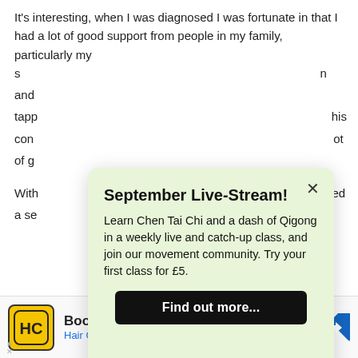It's interesting, when I was diagnosed I was fortunate in that I had a lot of good support from people in my family, particularly my s[...] and [...] tapp[...] his con[...] ot of g[...]
[Figure (screenshot): A modal popup overlay with light green background, showing 'September Live-Stream!' title, description about Chen Tai Chi and Qigong classes, first class for £5, and a 'Find out more...' black button. A close (X) button is in the top-right corner.]
With[...] ed a se[...] p
[Figure (infographic): Advertisement bar: Hair Cuttery logo (HC in yellow square), 'Book a Same Day Appointment' text, 'Hair Cuttery' in blue, and a blue navigation arrow icon on the right. Small play and X icons at bottom-left.]